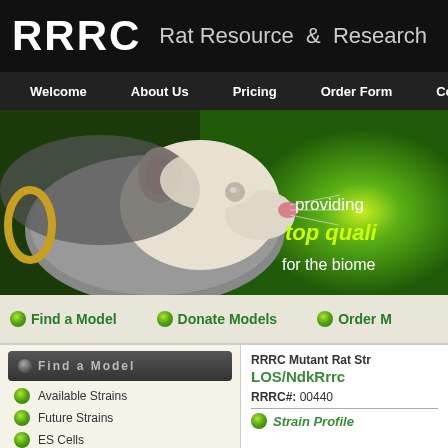RRRC  Rat Resource & Research
Welcome  About Us  Pricing  Order Form  Co...
[Figure (photo): Website banner showing a close-up photo of a rat on a green background with text: providing top quali[ty] for the biome[dical]]
providing top quality for the biomed...
Find a Model    Donate Models    Order M...
Find a Model
Available Strains
Future Strains
ES Cells
Order Form
Requesting
RRRC Mutant Rat Str... LOS/NdkRrrc
RRRC#: 00440
Strain Profile